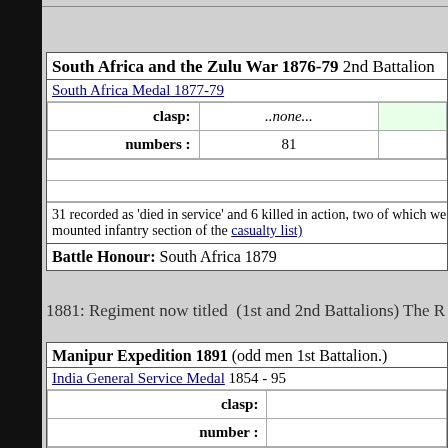South Africa and the Zulu War 1876-79 2nd Battalion
South Africa Medal 1877-79
| clasp: | ..none... |  |
| --- | --- | --- |
| numbers : | 81 |  |
31 recorded as 'died in service' and 6 killed in action, two of which we mounted infantry section of the casualty list)
Battle Honour: South Africa 1879
1881: Regiment now titled (1st and 2nd Battalions) The R
Manipur Expedition 1891 (odd men 1st Battalion.)
India General Service Medal 1854 - 95
| clasp: |  |
| --- | --- |
| number : |  |